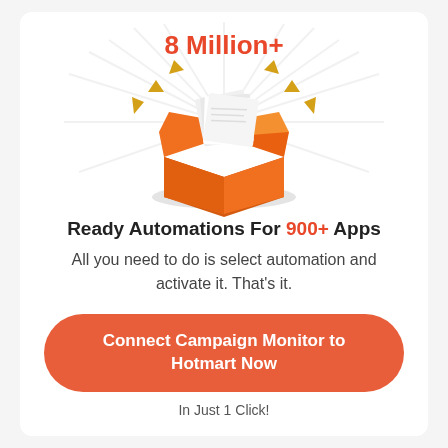[Figure (illustration): Orange open box with papers/documents coming out, surrounded by golden arrow rays and radial light beams, with '8 Million+' text in orange above]
Ready Automations For 900+ Apps
All you need to do is select automation and activate it. That's it.
Connect Campaign Monitor to Hotmart Now
In Just 1 Click!